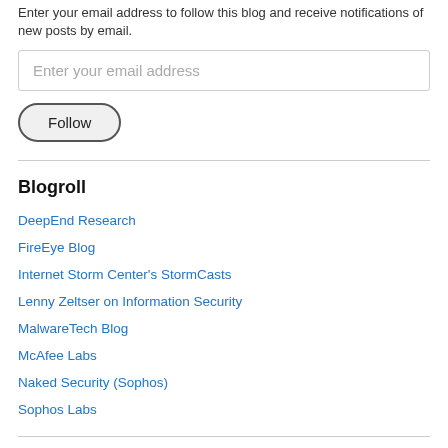Enter your email address to follow this blog and receive notifications of new posts by email.
Enter your email address
Follow
Blogroll
DeepEnd Research
FireEye Blog
Internet Storm Center's StormCasts
Lenny Zeltser on Information Security
MalwareTech Blog
McAfee Labs
Naked Security (Sophos)
Sophos Labs